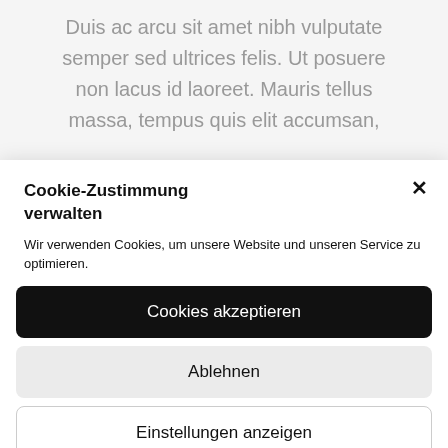Duis ac arcu sit amet nibh vulputate semper sed ultrices felis. Ut posuere non lacus id laoreet. Mauris tellus massa, tempus quis elit accumsan,
Cookie-Zustimmung verwalten
Wir verwenden Cookies, um unsere Website und unseren Service zu optimieren.
Cookies akzeptieren
Ablehnen
Einstellungen anzeigen